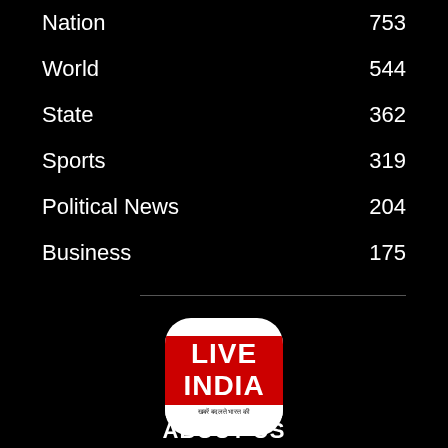Nation 753
World 544
State 362
Sports 319
Political News 204
Business 175
[Figure (logo): Live India news channel logo — white rounded square with red background showing LIVE INDIA text and Hindi tagline खबरें बदलते भारत की]
ABOUT US